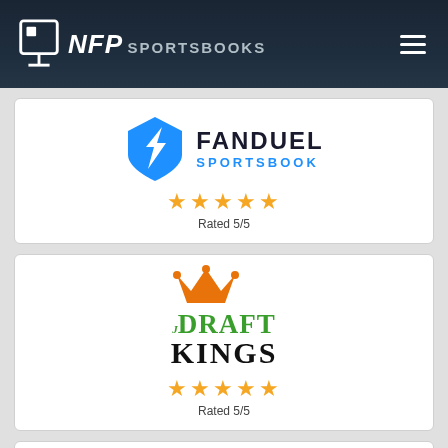NFP SPORTSBOOKS
[Figure (logo): FanDuel Sportsbook logo with shield icon in blue, text FANDUEL SPORTSBOOK in blue and dark. 5 gold stars. Rated 5/5.]
[Figure (logo): DraftKings logo with orange crown above green and black DRAFTKINGS text. 5 gold stars. Rated 5/5.]